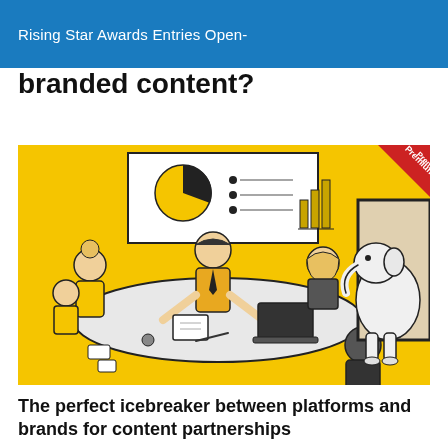Rising Star Awards Entries Open-
branded content?
[Figure (illustration): A cartoon illustration on a yellow background showing a business meeting around a conference table. Several people are seated, with a presentation screen showing a pie chart and bar graph at the back. A large white elephant is entering the room through a door on the right. A red 'Premium' ribbon badge is in the top-right corner.]
The perfect icebreaker between platforms and brands for content partnerships